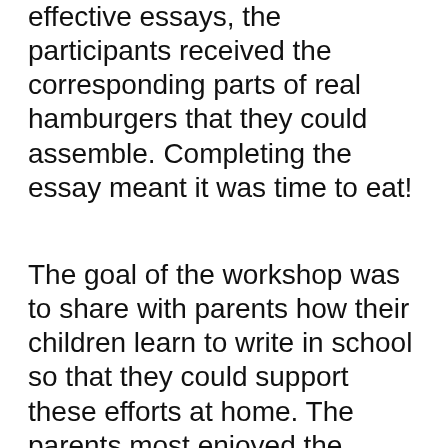effective essays, the participants received the corresponding parts of real hamburgers that they could assemble. Completing the essay meant it was time to eat!
The goal of the workshop was to share with parents how their children learn to write in school so that they could support these efforts at home. The parents most enjoyed the hands-on materials that detailed how to assemble the "ingredients" of the essays -- and the burgers! Carryout materials, without the food, were provided for those who could not attend the w...
"Grades kinderga... invited to attend... Model Workshop...
[Figure (screenshot): Video ad overlay from AdMetricsPro showing S&S Worldwide Online Learning video player with blue play button icon and mute button]